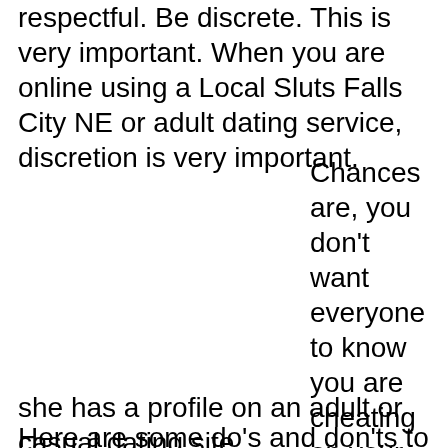respectful. Be discrete. This is very important. When you are online using a Local Sluts Falls City NE or adult dating service, discretion is very important.
Chances are, you don't want everyone to know you are cheating on your wife, and most girls don't want half the town knowing she has a profile on an adult or casual dating site. Here are some do's and don'ts to help you make sure
she has a profile on an adult or casual dating site.
Here are some do's and don'ts to help you make sure